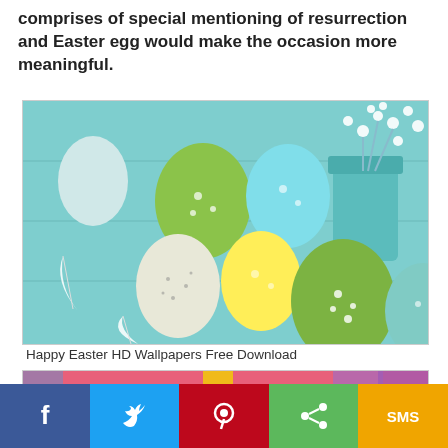comprises of special mentioning of resurrection and Easter egg would make the occasion more meaningful.
[Figure (photo): Colorful Easter eggs (green, teal, yellow, white speckled) arranged on a light blue wooden surface with white baby's breath flowers in a teal mason jar, with white feathers scattered around.]
Happy Easter HD Wallpapers Free Download
[Figure (photo): Close-up of decorated Easter eggs in a basket — pink striped egg, glittery green egg, and colorful ribbons in purple and yellow on a pink background.]
[Figure (infographic): Social media sharing bar with Facebook (blue), Twitter (light blue), Pinterest (red), Share (green), and SMS (orange/yellow) buttons.]